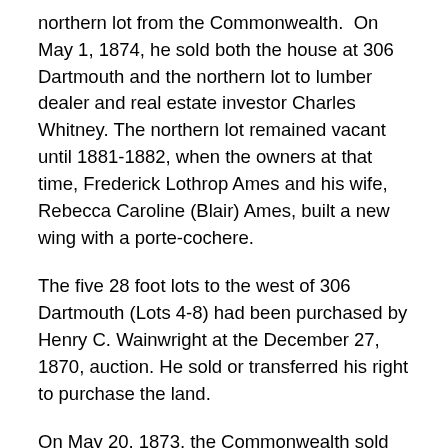northern lot from the Commonwealth.  On May 1, 1874, he sold both the house at 306 Dartmouth and the northern lot to lumber dealer and real estate investor Charles Whitney. The northern lot remained vacant until 1881-1882, when the owners at that time, Frederick Lothrop Ames and his wife, Rebecca Caroline (Blair) Ames, built a new wing with a porte-cochere.
The five 28 foot lots to the west of 306 Dartmouth (Lots 4-8) had been purchased by Henry C. Wainwright at the December 27, 1870, auction. He sold or transferred his right to purchase the land.
On May 20, 1873, the Commonwealth sold the 28 foot lot furthest west (Lot 8) to attorney John C. Ropes, who conveyed it that same day to commission merchant Charles Lowell Andrews. He and his wife, Sarah Augusta